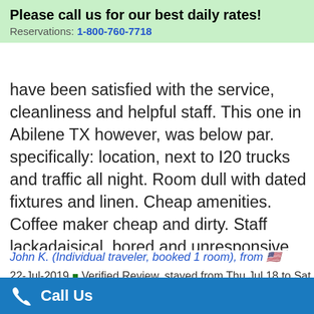Please call us for our best daily rates! Reservations: 1-800-760-7718
have been satisfied with the service, cleanliness and helpful staff. This one in Abilene TX however, was below par. specifically: location, next to I20 trucks and traffic all night. Room dull with dated fixtures and linen. Cheap amenities. Coffee maker cheap and dirty. Staff lackadaisical, bored and unresponsive. eg TV not programmed. asked the front desk for help 'fix it yourself!' no list of channels staff 'come down and get a paper copy' No bottled or fresh water available. The list goes on We'll have to re consider other hotel/motel chains next time we travel J and J Kelly.
John K. (Individual traveler, booked 1 room), from 🇺🇸
22-Jul-2019 🛡 Verified Review, stayed from Thu Jul 18 to Sat Jul 20 2019 at a $84.60 average nightly
Call Us